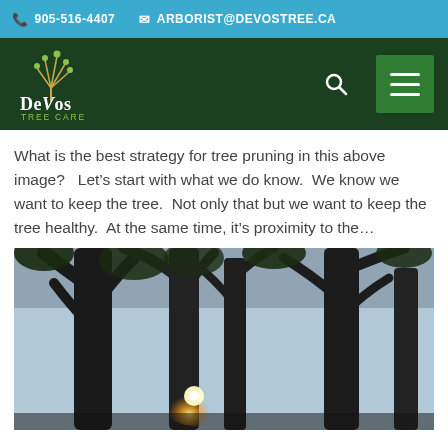905-516-4407  ARBORIST@DEVOSTREE.CA
[Figure (logo): DeVos Tree Care logo — stylized tree with text 'DeVos TREE CARE' on dark green navigation bar with search icon and hamburger menu button]
What is the best strategy for tree pruning in this above image?   Let's start with what we do know.  We know we want to keep the tree.  Not only that but we want to keep the tree healthy.  At the same time, it's proximity to the…
[Figure (photo): Photograph of tall trees with dark silhouetted trunks and branches against a light sky, with a bright light source (sun or lamp) visible through the branches]